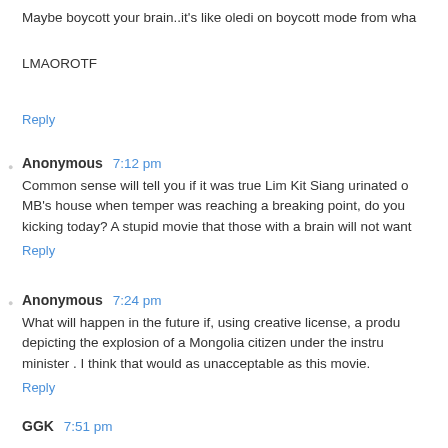Maybe boycott your brain..it's like oledi on boycott mode from wha
LMAOROTF
Reply
Anonymous 7:12 pm
Common sense will tell you if it was true Lim Kit Siang urinated o MB's house when temper was reaching a breaking point, do you kicking today? A stupid movie that those with a brain will not want
Reply
Anonymous 7:24 pm
What will happen in the future if, using creative license, a produ depicting the explosion of a Mongolia citizen under the instru minister . I think that would as unacceptable as this movie.
Reply
GGK 7:51 pm